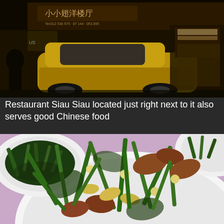[Figure (photo): Nighttime street scene showing Restaurant Siau Siau storefront with Chinese characters on signage, a car parked in front, and illuminated shop fronts in background]
Restaurant Siau Siau located just right next to it also serves good Chinese food
[Figure (photo): Close-up of Chinese stir-fried dish with green water spinach (kangkung), meat, ginkgo nuts, and other vegetables served in white plates on a purple table]